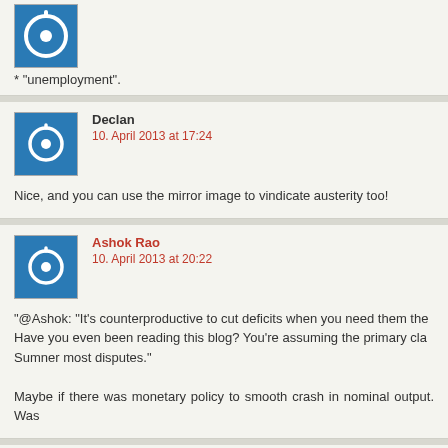* “unemployment”.
Declan
10. April 2013 at 17:24
Nice, and you can use the mirror image to vindicate austerity too!
Ashok Rao
10. April 2013 at 20:22
“@Ashok: “It’s counterproductive to cut deficits when you need them the... Have you even been reading this blog? You’re assuming the primary cla... Sumner most disputes.”

Maybe if there was monetary policy to smooth crash in nominal output. Was...
Bill Ellis
10. April 2013 at 20:36